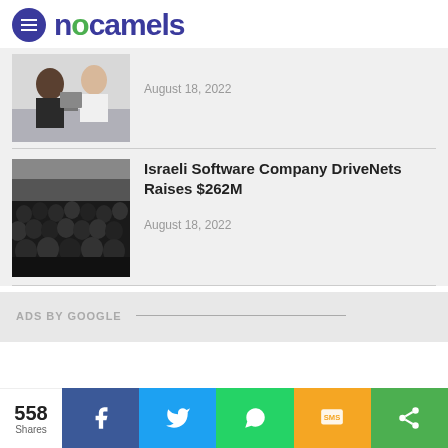nocamels
[Figure (photo): Two people working at computers in an office]
August 18, 2022
Israeli Software Company DriveNets Raises $262M
[Figure (photo): Large group of people in black t-shirts posing for a photo]
August 18, 2022
ADS BY GOOGLE
558 Shares